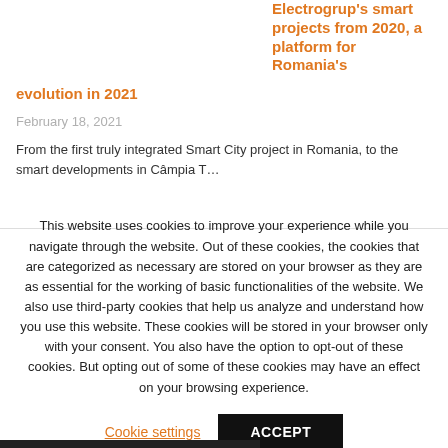Electrogrup's smart projects from 2020, a platform for Romania's
evolution in 2021
February 18, 2021
From the first truly integrated Smart City project in Romania, to the smart developments in Câmpia T…
This website uses cookies to improve your experience while you navigate through the website. Out of these cookies, the cookies that are categorized as necessary are stored on your browser as they are as essential for the working of basic functionalities of the website. We also use third-party cookies that help us analyze and understand how you use this website. These cookies will be stored in your browser only with your consent. You also have the option to opt-out of these cookies. But opting out of some of these cookies may have an effect on your browsing experience.
Cookie settings
ACCEPT